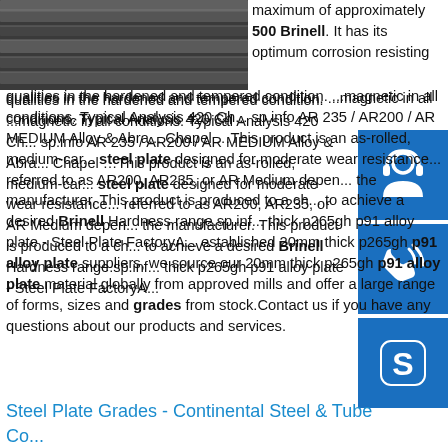[Figure (photo): Photo of stacked steel plates in dark tones]
maximum of approximately 500 Brinell. It has its optimum corrosion resisting qualities in the hardened and tempered condition. ...magnetic in all conditions. Typical Analysis 420 Ch... sp.info AR 235 / AR200 / AR MEDIUM Alloy & Abra... Chapel ...This product is an as-rolled, medium-car... steel plate designed for moderate wear resistance... referred to as AR200, AR235, or AR Medium depen... the manufacturer. This product is produced to a ch... to achieve a desired Brinell Hardness range.sp.inf... thick p265gh p91 alloy plate - Steel Plate FactoryA... established 20mm thick p265gh p91 alloy plate suppliers, we source our 20mm thick p265gh p91 alloy plate material globally from approved mills and offer a large range of forms, sizes and grades from stock.Contact us if you have any questions about our products and services.
[Figure (infographic): Blue icon box with headset/customer support icon]
[Figure (infographic): Blue icon box with phone/call icon]
[Figure (infographic): Blue icon box with Skype icon]
Steel Plate Grades - Continental Steel & Tube Co...